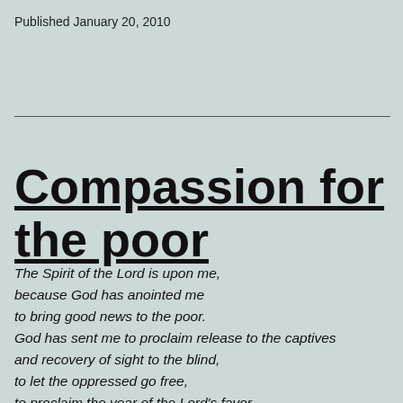Published January 20, 2010
Compassion for the poor
The Spirit of the Lord is upon me,
because God has anointed me
to bring good news to the poor.
God has sent me to proclaim release to the captives
and recovery of sight to the blind,
to let the oppressed go free,
to proclaim the year of the Lord's favor.